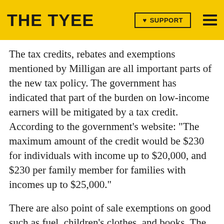THE TYEE
The tax credits, rebates and exemptions mentioned by Milligan are all important parts of the new tax policy. The government has indicated that part of the burden on low-income earners will be mitigated by a tax credit. According to the government's website: “The maximum amount of the credit would be $230 for individuals with income up to $20,000, and $230 per family member for families with incomes up to $25,000.”
There are also point of sale exemptions on good such as fuel, children’s clothes, and books. The HST will also maintain the current GST exemptions -- meaning that goods which are currently exempt from GST, like basic groceries, are also exempt from